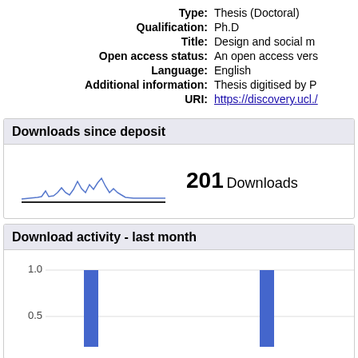Type: Thesis (Doctoral)
Qualification: Ph.D
Title: Design and social m
Open access status: An open access vers
Language: English
Additional information: Thesis digitised by P
URI: https://discovery.ucl./
Downloads since deposit
[Figure (line-chart): Sparkline showing download activity over time, small line chart with spikes]
201 Downloads
Download activity - last month
[Figure (bar-chart): Download activity - last month]